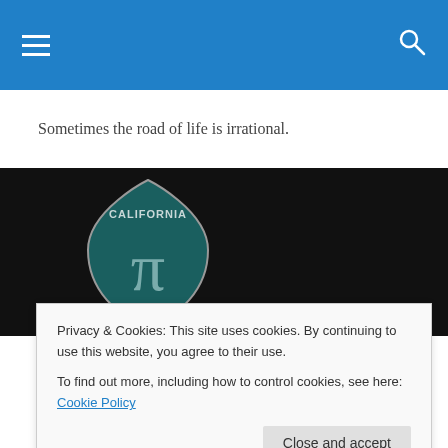Navigation bar with hamburger menu and search icon
Sometimes the road of life is irrational.
[Figure (illustration): California Pi road sign — a dark teal shield-shaped road sign reading 'CALIFORNIA' at the top and showing the pi symbol (π) in the center, on a black background.]
(partially visible title)
in the first place, things along those lines.  I have a hard
Privacy & Cookies: This site uses cookies. By continuing to use this website, you agree to their use.
To find out more, including how to control cookies, see here: Cookie Policy